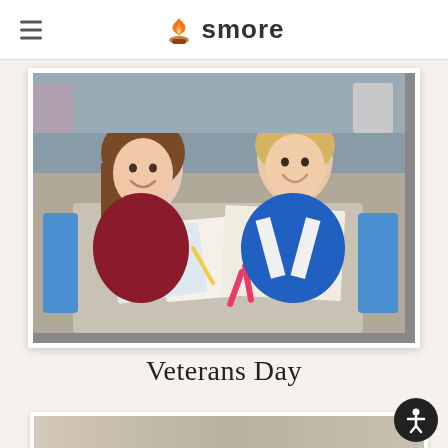smore
[Figure (photo): Two elementary school children sitting at a classroom table, smiling at the camera. A girl with brown hair in a maroon shirt on the left, and a boy with blonde hair in a blue and white shirt on the right. They have worksheets, pencils, scissors and school supplies on the table in front of them.]
Veterans Day
[Figure (photo): Bottom portion of another classroom photo, partially visible at the bottom of the page.]